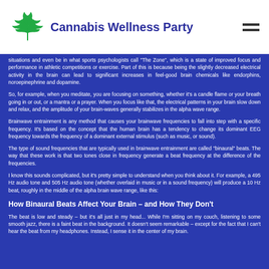[Figure (logo): Green cannabis leaf logo with text 'Cannabis Wellness Party' in dark blue bold font]
situations and even be in what sports psychologists call "The Zone", which is a state of improved focus and performance in athletic competitions or exercise. Part of this is because being the slightly decreased electrical activity in the brain can lead to significant increases in feel-good brain chemicals like endorphins, noroepinephrine and dopamine.
So, for example, when you meditate, you are focusing on something, whether it's a candle flame or your breath going in or out, or a mantra or a prayer. When you focus like that, the electrical patterns in your brain slow down and relax, and the amplitude of your brain-waves generally stabilizes in the alpha wave range.
Brainwave entrainment is any method that causes your brainwave frequencies to fall into step with a specific frequency. It's based on the concept that the human brain has a tendency to change its dominant EEG frequency towards the frequency of a dominant external stimulus (such as music, or sound).
The type of sound frequencies that are typically used in brainwave entrainment are called "binaural" beats. The way that these work is that two tones close in frequency generate a beat frequency at the difference of the frequencies.
I know this sounds complicated, but it's pretty simple to understand when you think about it. For example, a 495 Hz audio tone and 505 Hz audio tone (whether overlaid in music or in a sound frequency) will produce a 10 Hz beat, roughly in the middle of the alpha brain wave range, like this:
How Binaural Beats Affect Your Brain – and How They Don't
The beat is low and steady – but it's all just in my head... While I'm sitting on my couch, listening to some smooth jazz, there is a faint beat in the background. It doesn't seem remarkable – except for the fact that I can't hear the beat from my headphones. Instead, I sense it in the center of my brain.